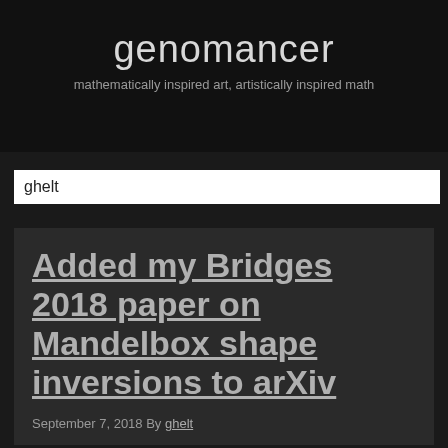genomancer
mathematically inspired art, artistically inspired math
ghelt
Added my Bridges 2018 paper on Mandelbox shape inversions to arXiv
September 7, 2018 By ghelt